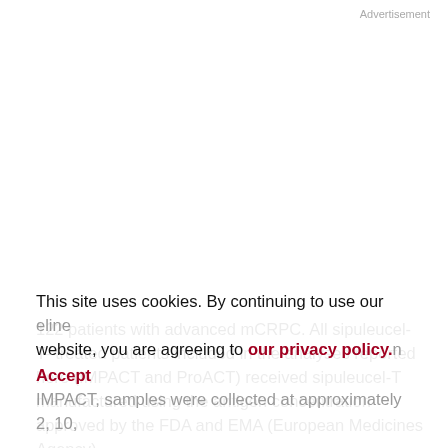Advertisement
122 patients with advanced mCRPC. All sipuleucel-T–treated patients included in the analyses reported here (IMPACT and ProACT) received sipuleucel-T manufactured using the antigen concentration approved by the FDA and EMA (European Medicines Agency).
Serum samples were collected from patients at time points specified under each study protocol (see Supplementary
This site uses cookies. By continuing to use our website, you are agreeing to our privacy policy. Accept
IMPACT, samples were collected at approximately 2, 10,